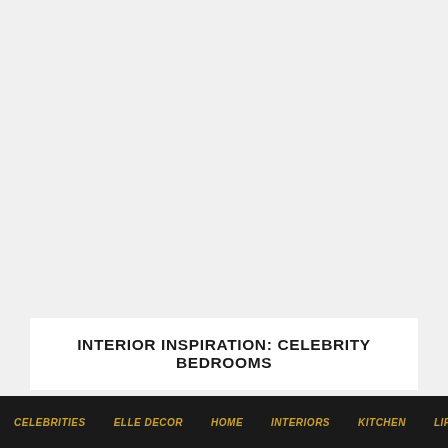INTERIOR INSPIRATION: CELEBRITY BEDROOMS
CELEBRITIES | ELLE DECOR | HOME | INTERIORS | KITCHEN | LIFESTYLE